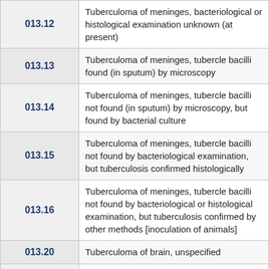| Code | Description |
| --- | --- |
| 013.12 | Tuberculoma of meninges, bacteriological or histological examination unknown (at present) |
| 013.13 | Tuberculoma of meninges, tubercle bacilli found (in sputum) by microscopy |
| 013.14 | Tuberculoma of meninges, tubercle bacilli not found (in sputum) by microscopy, but found by bacterial culture |
| 013.15 | Tuberculoma of meninges, tubercle bacilli not found by bacteriological examination, but tuberculosis confirmed histologically |
| 013.16 | Tuberculoma of meninges, tubercle bacilli not found by bacteriological or histological examination, but tuberculosis confirmed by other methods [inoculation of animals] |
| 013.20 | Tuberculoma of brain, unspecified |
| 013.21 | Tuberculoma of brain, bacteriological or |